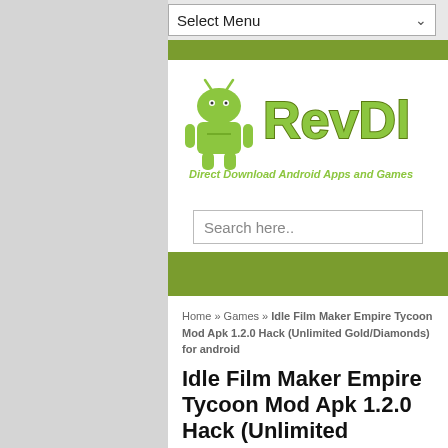Select Menu
[Figure (logo): RevDl logo — green Android robot mascot with large green stylized 'RevDl' text and subtitle 'Direct Download Android Apps and Games']
Search here..
Home » Games » Idle Film Maker Empire Tycoon Mod Apk 1.2.0 Hack (Unlimited Gold/Diamonds) for android
Idle Film Maker Empire Tycoon Mod Apk 1.2.0 Hack (Unlimited